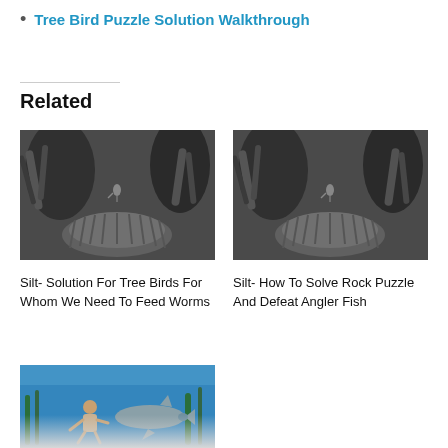Tree Bird Puzzle Solution Walkthrough
Related
[Figure (photo): Grayscale underwater scene with coral and puzzle elements - thumbnail for Silt tree birds article]
Silt- Solution For Tree Birds For Whom We Need To Feed Worms
[Figure (photo): Grayscale underwater scene with coral and puzzle elements - thumbnail for Silt rock puzzle article]
Silt- How To Solve Rock Puzzle And Defeat Angler Fish
[Figure (photo): Colorful underwater scene with character and shark - thumbnail for third Silt article]